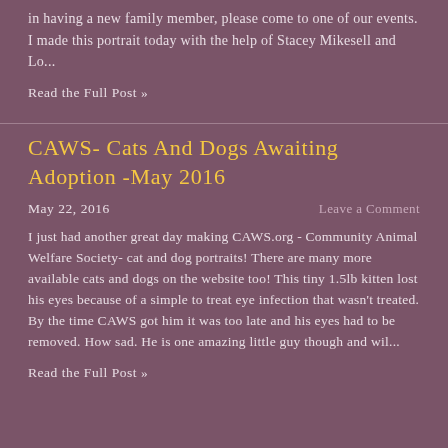in having a new family member, please come to one of our events. I made this portrait today with the help of Stacey Mikesell and Lo...
Read the Full Post »
CAWS- Cats And Dogs Awaiting Adoption -May 2016
May 22, 2016
Leave a Comment
I just had another great day making CAWS.org - Community Animal Welfare Society- cat and dog portraits! There are many more available cats and dogs on the website too! This tiny 1.5lb kitten lost his eyes because of a simple to treat eye infection that wasn't treated. By the time CAWS got him it was too late and his eyes had to be removed. How sad. He is one amazing little guy though and wil...
Read the Full Post »